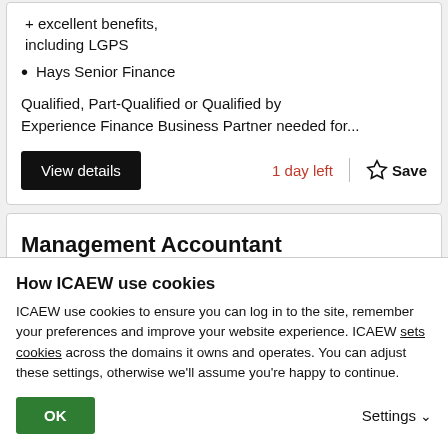+ excellent benefits, including LGPS
Hays Senior Finance
Qualified, Part-Qualified or Qualified by Experience Finance Business Partner needed for...
View details
1 day left
Save
Management Accountant
How ICAEW use cookies
ICAEW use cookies to ensure you can log in to the site, remember your preferences and improve your website experience. ICAEW sets cookies across the domains it owns and operates. You can adjust these settings, otherwise we'll assume you're happy to continue.
OK
Settings